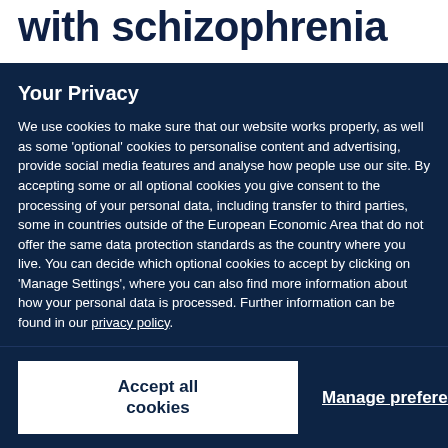with schizophrenia
Your Privacy
We use cookies to make sure that our website works properly, as well as some ‘optional’ cookies to personalise content and advertising, provide social media features and analyse how people use our site. By accepting some or all optional cookies you give consent to the processing of your personal data, including transfer to third parties, some in countries outside of the European Economic Area that do not offer the same data protection standards as the country where you live. You can decide which optional cookies to accept by clicking on ‘Manage Settings’, where you can also find more information about how your personal data is processed. Further information can be found in our privacy policy.
Accept all cookies
Manage preferences